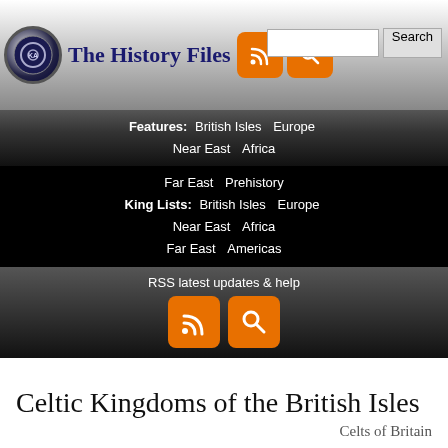The History Files
Features: British Isles  Europe  Near East  Africa  Far East  Prehistory
King Lists: British Isles  Europe  Near East  Africa  Far East  Americas
RSS latest updates & help
Celtic Kingdoms of the British Isles
Celts of Britain